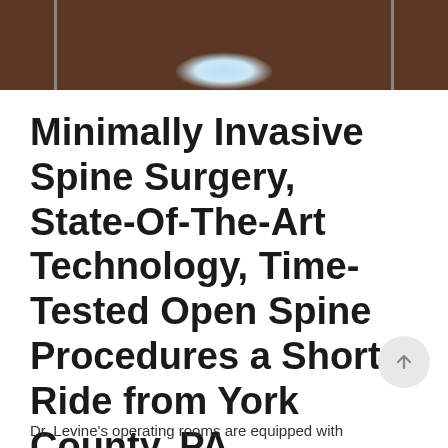[Figure (photo): Cropped photo showing a dark brown background with a light blue and white highlight/logo element at the bottom center, appearing to be a partial view of a medical or anatomical image.]
Minimally Invasive Spine Surgery, State-Of-The-Art Technology, Time-Tested Open Spine Procedures a Short Ride from York County, PA
Dr. Levine's operating rooms are equipped with